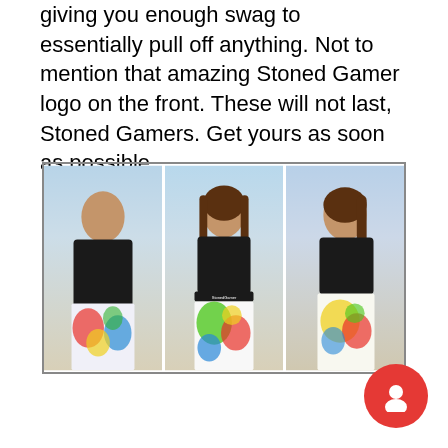giving you enough swag to essentially pull off anything. Not to mention that amazing Stoned Gamer logo on the front. These will not last, Stoned Gamers. Get yours as soon as possible.
[Figure (photo): Three-panel photo collage of a young woman wearing colorful comic-book/gaming themed leggings and a black sports bra top, posed against an outdoor background with city skyline. Left panel shows back view, center panel shows front view with Stoned Gamers waistband visible, right panel shows side/back view.]